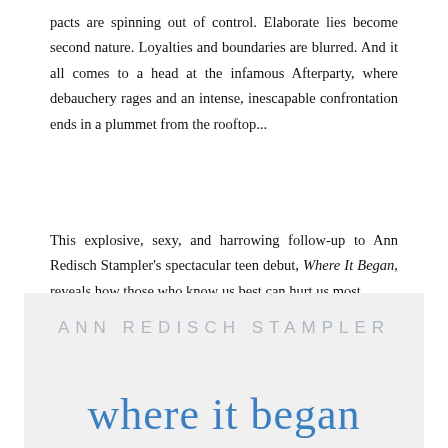pacts are spinning out of control. Elaborate lies become second nature. Loyalties and boundaries are blurred. And it all comes to a head at the infamous Afterparty, where debauchery rages and an intense, inescapable confrontation ends in a plummet from the rooftop...
This explosive, sexy, and harrowing follow-up to Ann Redisch Stampler's spectacular teen debut, Where It Began, reveals how those who know us best can hurt us most.
ANN REDISCH STAMPLER
where it began